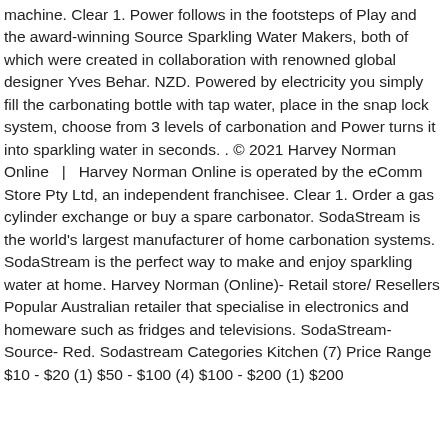machine. Clear 1. Power follows in the footsteps of Play and the award-winning Source Sparkling Water Makers, both of which were created in collaboration with renowned global designer Yves Behar. NZD. Powered by electricity you simply fill the carbonating bottle with tap water, place in the snap lock system, choose from 3 levels of carbonation and Power turns it into sparkling water in seconds. . © 2021 Harvey Norman Online  |  Harvey Norman Online is operated by the eComm Store Pty Ltd, an independent franchisee. Clear 1. Order a gas cylinder exchange or buy a spare carbonator. SodaStream is the world's largest manufacturer of home carbonation systems. SodaStream is the perfect way to make and enjoy sparkling water at home. Harvey Norman (Online)- Retail store/ Resellers Popular Australian retailer that specialise in electronics and homeware such as fridges and televisions. SodaStream- Source- Red. Sodastream Categories Kitchen (7) Price Range $10 - $20 (1) $50 - $100 (4) $100 - $200 (1) $200